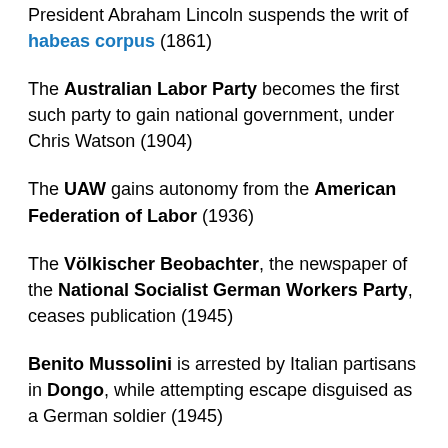President Abraham Lincoln suspends the writ of habeas corpus (1861)
The Australian Labor Party becomes the first such party to gain national government, under Chris Watson (1904)
The UAW gains autonomy from the American Federation of Labor (1936)
The Völkischer Beobachter, the newspaper of the National Socialist German Workers Party, ceases publication (1945)
Benito Mussolini is arrested by Italian partisans in Dongo, while attempting escape disguised as a German soldier (1945)
President B. Hussein Obama travels to Iowa and tours the federally-subsidized Siemens Wind Turbine Blade Manufacturing Plant in Fort Madison, Iowa, where he delivers remarks on getting used to Progressives' new normal